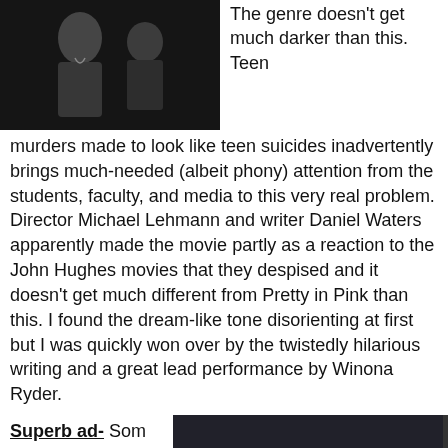[Figure (photo): A movie still showing two people, one appearing to wear a necklace, in a dark setting]
The genre doesn't get much darker than this. Teen murders made to look like teen suicides inadvertently brings much-needed (albeit phony) attention from the students, faculty, and media to this very real problem. Director Michael Lehmann and writer Daniel Waters apparently made the movie partly as a reaction to the John Hughes movies that they despised and it doesn't get much different from Pretty in Pink than this. I found the dream-like tone disorienting at first but I was quickly won over by the twistedly hilarious writing and a great lead performance by Winona Ryder.
Superbad- Sometimes less dick drawings
[Figure (photo): A movie still from Superbad showing two young men running or crouching, looking startled, at night]